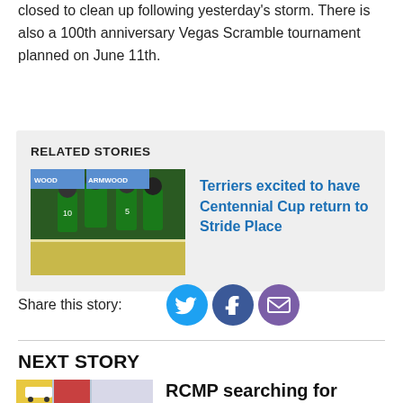closed to clean up following yesterday's storm. There is also a 100th anniversary Vegas Scramble tournament planned on June 11th.
RELATED STORIES
[Figure (photo): Hockey players in green jerseys on ice rink]
Terriers excited to have Centennial Cup return to Stride Place
Share this story:
[Figure (other): Twitter, Facebook, and Email share icons]
NEXT STORY
[Figure (photo): RCMP related image]
RCMP searching for